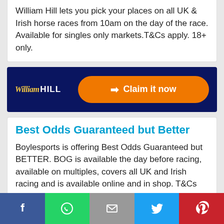William Hill lets you pick your places on all UK & Irish horse races from 10am on the day of the race. Available for singles only markets.T&Cs apply. 18+ only.
[Figure (other): William Hill dark navy banner with William Hill logo on left and orange 'Claim it now' button on right]
Best Odds Guaranteed but Better
Boylesports is offering Best Odds Guaranteed but BETTER. BOG is available the day before racing, available on multiples, covers all UK and Irish racing and is available online and in shop. T&Cs apply. 18+
[Figure (other): Social sharing bar with Facebook, WhatsApp, Email, Twitter, and Pinterest buttons]